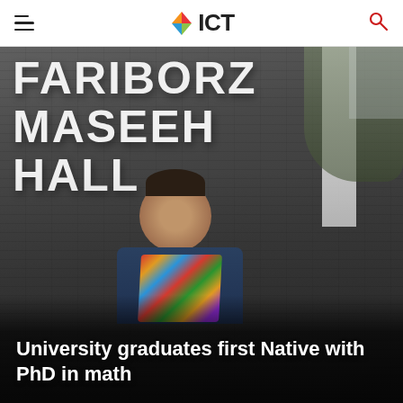ICT
[Figure (photo): A smiling young man wearing a colorful patterned scarf/stole stands in front of a dark brick building with large white letters reading FARIBORZ MASEEH HALL]
University graduates first Native with PhD in math